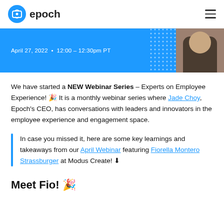epoch (logo + navigation)
[Figure (photo): Blue banner with date 'April 27, 2022 • 12:00 – 12:30pm PT' and a photo of a person on the right side with a dot pattern background]
We have started a NEW Webinar Series – Experts on Employee Experience! 🎉 It is a monthly webinar series where Jade Choy, Epoch's CEO, has conversations with leaders and innovators in the employee experience and engagement space.
In case you missed it, here are some key learnings and takeaways from our April Webinar featuring Fiorella Montero Strassburger at Modus Create! ⬇
Meet Fio! 🎉